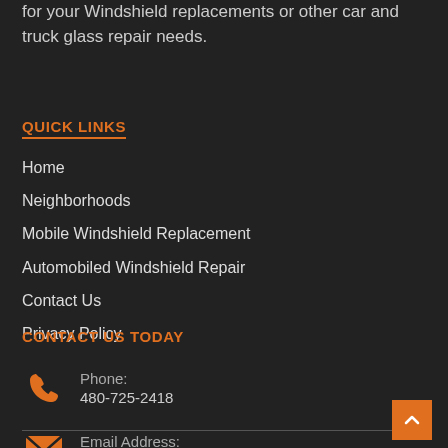for your Windshield replacements or other car and truck glass repair needs.
QUICK LINKS
Home
Neighborhoods
Mobile Windshield Replacement
Automobiled Windshield Repair
Contact Us
Privacy Policy
CONTACT US TODAY
Phone: 480-725-2418
Email Address: